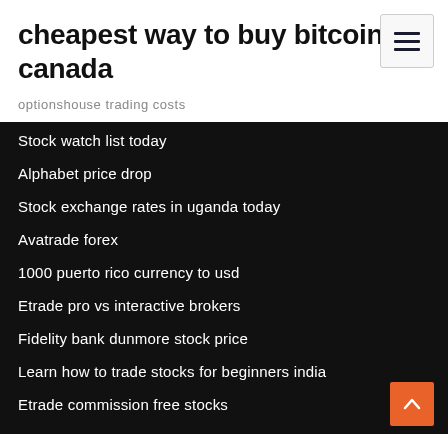cheapest way to buy bitcoin in canada
optionshouse trading costs
Stock watch list today
Alphabet price drop
Stock exchange rates in uganda today
Avatrade forex
1000 puerto rico currency to usd
Etrade pro vs interactive brokers
Fidelity bank dunmore stock price
Learn how to trade stocks for beginners india
Etrade commission free stocks